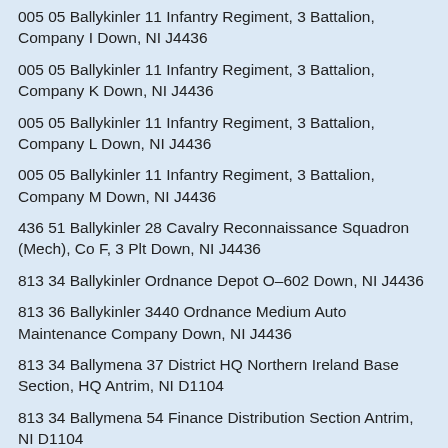005 05 Ballykinler 11 Infantry Regiment, 3 Battalion, Company I Down, NI J4436
005 05 Ballykinler 11 Infantry Regiment, 3 Battalion, Company K Down, NI J4436
005 05 Ballykinler 11 Infantry Regiment, 3 Battalion, Company L Down, NI J4436
005 05 Ballykinler 11 Infantry Regiment, 3 Battalion, Company M Down, NI J4436
436 51 Ballykinler 28 Cavalry Reconnaissance Squadron (Mech), Co F, 3 Plt Down, NI J4436
813 34 Ballykinler Ordnance Depot O–602 Down, NI J4436
813 36 Ballykinler 3440 Ordnance Medium Auto Maintenance Company Down, NI J4436
813 34 Ballymena 37 District HQ Northern Ireland Base Section, HQ Antrim, NI D1104
813 34 Ballymena 54 Finance Distribution Section Antrim, NI D1104